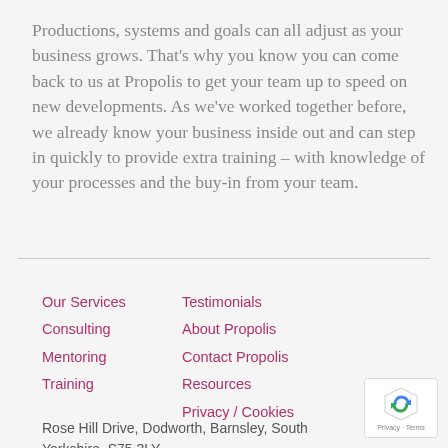Productions, systems and goals can all adjust as your business grows. That's why you know you can come back to us at Propolis to get your team up to speed on new developments. As we've worked together before, we already know your business inside out and can step in quickly to provide extra training – with knowledge of your processes and the buy-in from your team.
Our Services | Consulting | Mentoring | Training | Testimonials | About Propolis | Contact Propolis | Resources | Privacy / Cookies | Rose Hill Drive, Dodworth, Barnsley, South Yorkshire. S75 3LY